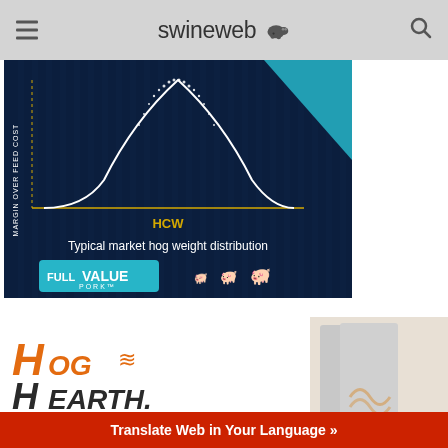swineweb
[Figure (infographic): Dark blue background infographic showing a bell curve of 'Typical market hog weight distribution' with HCW on x-axis and Margin Over Feed Cost on y-axis. FullValue Pork branding with pig silhouette icons at bottom.]
[Figure (illustration): Hog Hearth advertisement showing the logo with orange H letters and flame icons, product image of metallic heating panels, and tagline 'Warm Up Your Winter with The World's Most Energy Efficient Heat']
Translate Web in Your Language »